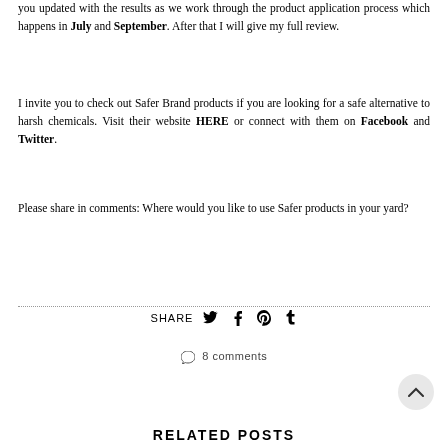you updated with the results as we work through the product application process which happens in July and September. After that I will give my full review.
I invite you to check out Safer Brand products if you are looking for a safe alternative to harsh chemicals. Visit their website HERE or connect with them on Facebook and Twitter.
Please share in comments: Where would you like to use Safer products in your yard?
SHARE
8 comments
RELATED POSTS